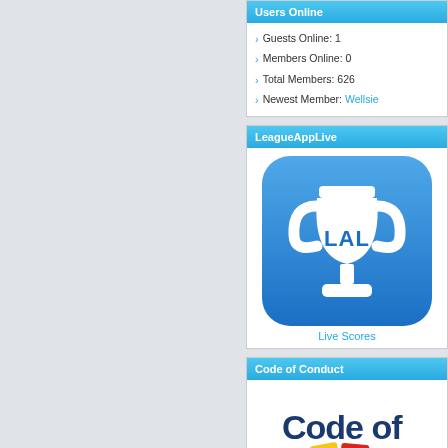Users Online
Guests Online: 1
Members Online: 0
Total Members: 626
Newest Member: Wellsie
LeagueAppLive
[Figure (logo): LeagueAppLive trophy logo — white trophy cup with 'LAL' text on a blue rounded rectangle background]
Live Scores
Code of Conduct
[Figure (illustration): Code of Conduct image showing text 'Code of' with yellow and red card icons below, partial view]